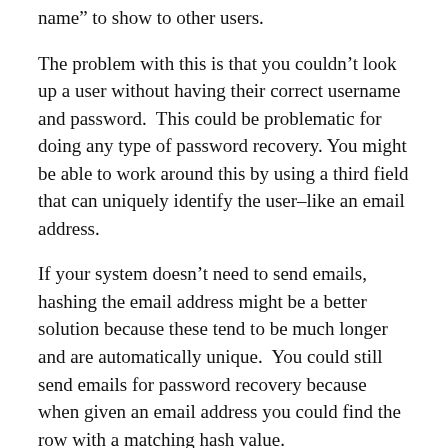name” to show to other users.
The problem with this is that you couldn’t look up a user without having their correct username and password.  This could be problematic for doing any type of password recovery. You might be able to work around this by using a third field that can uniquely identify the user–like an email address.
If your system doesn’t need to send emails, hashing the email address might be a better solution because these tend to be much longer and are automatically unique.  You could still send emails for password recovery because when given an email address you could find the row with a matching hash value.
If the average email address is 20 characters and can contain A-Z, @ and a period, then you’d be looking at 20^28 different combinations for a dictionary